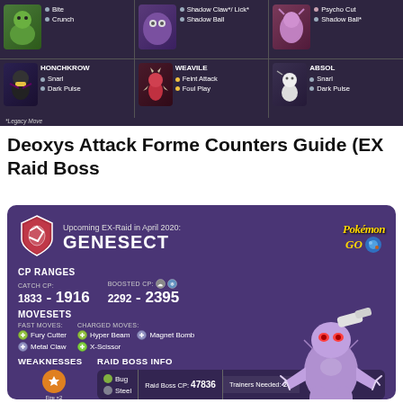[Figure (screenshot): Pokemon Go counters grid showing Honchkrow (Snarl, Dark Pulse), Weavile (Feint Attack, Foul Play), Absol (Snarl, Dark Pulse), and other dark-type Pokemon with moves. Top row shows Pokemon with Shadow Claw*/Lick, Shadow Ball and Psycho Cut, Shadow Ball*. Legacy Move note at bottom.]
Deoxys Attack Forme Counters Guide (EX Raid Boss
[Figure (infographic): Pokemon GO infographic card for Genesect EX Raid in April 2020. Shows CP Ranges (Catch CP 1833-1916, Boosted CP 2292-2395), Movesets (Fast: Fury Cutter, Metal Claw; Charged: Hyper Beam, Magnet Bomb, X-Scissor), Weaknesses (Fire x2), Raid Boss Info (Bug/Steel, Raid Boss CP: 47836, Trainers Needed: 2-7). Genesect artwork on right side.]